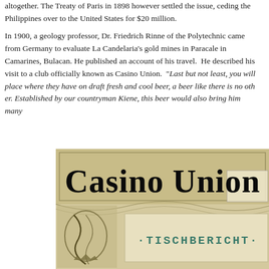altogether. The Treaty of Paris in 1898 however settled the issue, ceding the Philippines over to the United States for $20 million.
In 1900, a geology professor, Dr. Friedrich Rinne of the Polytechnic came from Germany to evaluate La Candelaria's gold mines in Paracale in Camarines, Bulacan. He published an account of his travel. He described his visit to a club officially known as Casino Union. “Last but not least, you will find a place where they have on draft fresh and cool beer, a beer like there is no other. Established by our countryman Kiene, this beer would also bring him many”
[Figure (photo): Ornate vintage menu or document cover for 'Casino Union' featuring decorative Gothic lettering in black on an olive/tan background with ornamental scrollwork and vines. The lower portion shows 'TISCHBERICHT' in teal/green decorative lettering on a lighter background panel.]